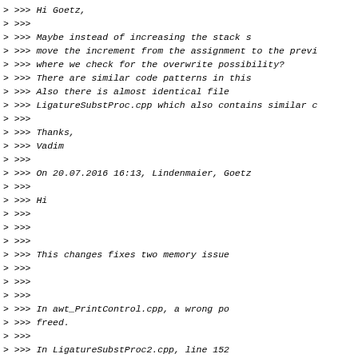> >>>         Hi Goetz,
> >>>
> >>>             Maybe instead of increasing the stack s
> >>> move the increment from the assignment to the previ
> >>> where we check for the overwrite possibility?
> >>>             There are similar code patterns in this
> >>>             Also there is almost identical file
> >>> LigatureSubstProc.cpp which also contains similar c
> >>>
> >>>             Thanks,
> >>>             Vadim
> >>>
> >>>             On 20.07.2016 16:13, Lindenmaier, Goetz
> >>>
> >>>             Hi
> >>>
> >>>
> >>>
> >>>             This changes fixes two memory issue
> >>>
> >>>
> >>>
> >>>             In awt_PrintControl.cpp, a wrong po
> >>> freed.
> >>>
> >>>             In LigatureSubstProc2.cpp, line 152
> >>>
> >>>                 stack[++mm] = componentGlyph;
> >>>
> >>>             can overwrite the stack by one elem